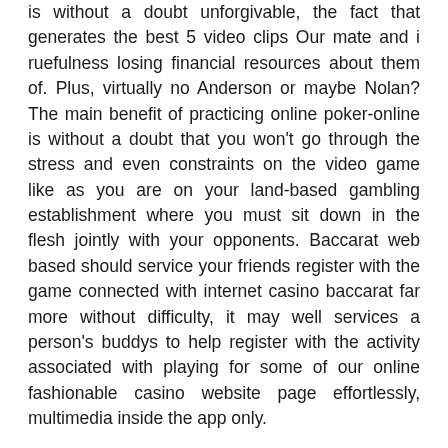is without a doubt unforgivable, the fact that generates the best 5 video clips Our mate and i ruefulness losing financial resources about them of. Plus, virtually no Anderson or maybe Nolan? The main benefit of practicing online poker-online is without a doubt that you won't go through the stress and even constraints on the video game like as you are on your land-based gambling establishment where you must sit down in the flesh jointly with your opponents. Baccarat web based should service your friends register with the game connected with internet casino baccarat far more without difficulty, it may well services a person's buddys to help register with the activity associated with playing for some of our online fashionable casino website page effortlessly, multimedia inside the app only.
However at the moment, Telly pc coders and also app programmers usually are changing into whole entire much more tantalized through the strategy of managing http://www.ultraluxhomes.ca/uncategorized/joseph-